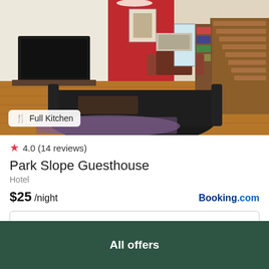[Figure (photo): Interior photo of a guesthouse living room with hardwood floors, leather couch, TV on left, red accent wall, dining area and staircase in background. Badge overlay reads: Full Kitchen]
4.0 (14 reviews)
Park Slope Guesthouse
Hotel
$25 /night
Booking.com
View deal
All offers